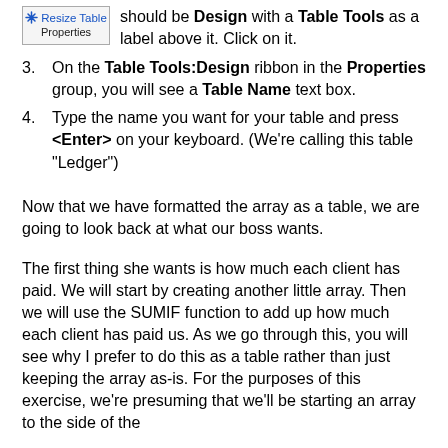[Figure (screenshot): UI element showing 'Resize Table' button with a move/resize icon and 'Properties' label below it, inside a bordered box]
should be Design with a Table Tools as a label above it. Click on it.
3. On the Table Tools:Design ribbon in the Properties group, you will see a Table Name text box.
4. Type the name you want for your table and press <Enter> on your keyboard. (We're calling this table "Ledger")
Now that we have formatted the array as a table, we are going to look back at what our boss wants.
The first thing she wants is how much each client has paid. We will start by creating another little array. Then we will use the SUMIF function to add up how much each client has paid us. As we go through this, you will see why I prefer to do this as a table rather than just keeping the array as-is. For the purposes of this exercise, we're presuming that we'll be starting an array to the side of the character table, the cell S1. The for above will